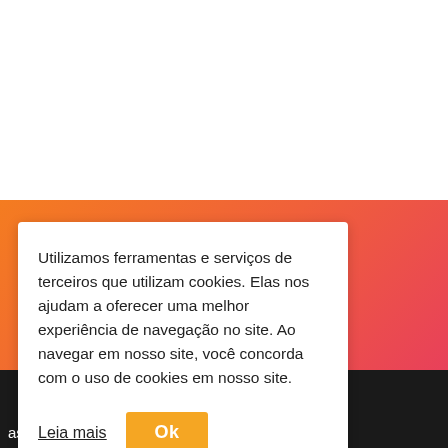[Figure (screenshot): White background top section of a webpage]
[Figure (screenshot): Orange to pink gradient background section of a webpage with dark footer area showing partial Portuguese text]
Utilizamos ferramentas e serviços de terceiros que utilizam cookies. Elas nos ajudam a oferecer uma melhor experiência de navegação no site. Ao navegar em nosso site, você concorda com o uso de cookies em nosso site.
Leia mais
Ok
assuntos mais importantes da região e do país.